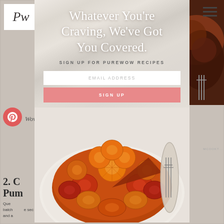[Figure (screenshot): Website screenshot of PurewWow with a modal/popup overlay. Background shows blurred content with a PW logo top-left and hamburger menu top-right. A centered modal popup on marble background displays headline text, an email signup form, and a photo of an orange/blood orange upside-down cake.]
Whatever You're Craving, We've Got You Covered.
SIGN UP FOR PUREWOW RECIPES
EMAIL ADDRESS
SIGN UP
2. C... Pum...
Que... batch... e sec and a...